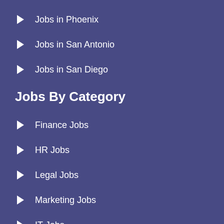Jobs in Phoenix
Jobs in San Antonio
Jobs in San Diego
Jobs By Category
Finance Jobs
HR Jobs
Legal Jobs
Marketing Jobs
IT Jobs
Supply Chain Jobs